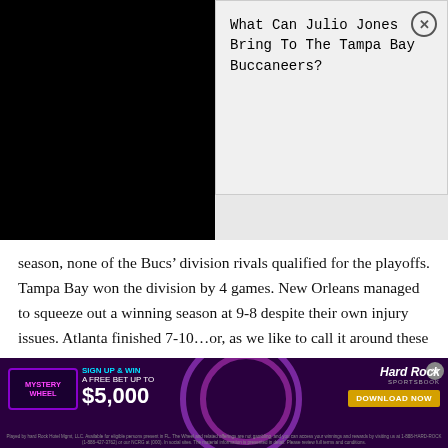[Figure (screenshot): Black image/video placeholder block on the left side of the top section]
What Can Julio Jones Bring To The Tampa Bay Buccaneers?
season, none of the Bucs’ division rivals qualified for the playoffs. Tampa Bay won the division by 4 games. New Orleans managed to squeeze out a winning season at 9-8 despite their own injury issues. Atlanta finished 7-10…or, as we like to call it around these parts “an Atlanta” because the Falcons always seem to be around 7-9 or 8-8 on the year, am I right? The Panthers finish losing their last 7 games and going 2-12 after a 3-0 start – and they’re apparently bringing everybody back next year. Yikes.
[Figure (infographic): Hard Rock Sportsbook advertisement banner with Mystery Wheel, Sign Up & Win A Free Bet Up To $5,000, and Download Now button]